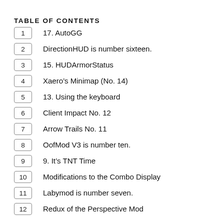TABLE OF CONTENTS
1  17. AutoGG
2  DirectionHUD is number sixteen.
3  15. HUDArmorStatus
4  Xaero’s Minimap (No. 14)
5  13. Using the keyboard
6  Client Impact No. 12
7  Arrow Trails No. 11
8  OofMod V3 is number ten.
9  9. It’s TNT Time
10  Modifications to the Combo Display
11  Labymod is number seven.
12  Redux of the Perspective Mod